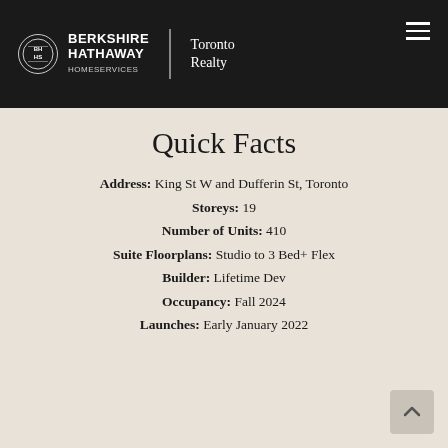[Figure (logo): Berkshire Hathaway HomeServices | Toronto Realty logo on black header with hamburger menu]
Quick Facts
Address:  King St W and Dufferin St, Toronto
Storeys:  19
Number of Units:  410
Suite Floorplans:  Studio to 3 Bed+ Flex
Builder:  Lifetime Dev
Occupancy:  Fall 2024
Launches:  Early January 2022